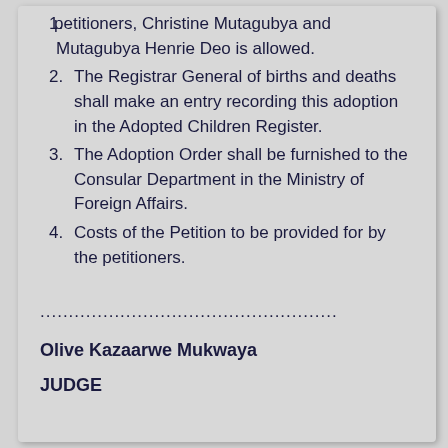petitioners, Christine Mutagubya and Mutagubya Henrie Deo is allowed.
The Registrar General of births and deaths shall make an entry recording this adoption in the Adopted Children Register.
The Adoption Order shall be furnished to the Consular Department in the Ministry of Foreign Affairs.
Costs of the Petition to be provided for by the petitioners.
....................................................
Olive Kazaarwe Mukwaya
JUDGE